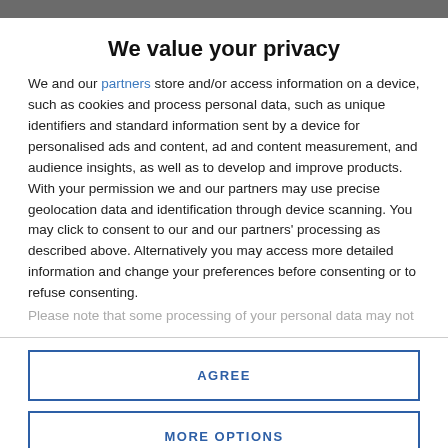We value your privacy
We and our partners store and/or access information on a device, such as cookies and process personal data, such as unique identifiers and standard information sent by a device for personalised ads and content, ad and content measurement, and audience insights, as well as to develop and improve products. With your permission we and our partners may use precise geolocation data and identification through device scanning. You may click to consent to our and our partners' processing as described above. Alternatively you may access more detailed information and change your preferences before consenting or to refuse consenting.
Please note that some processing of your personal data may not
AGREE
MORE OPTIONS
Worcester - Abeloare, WA